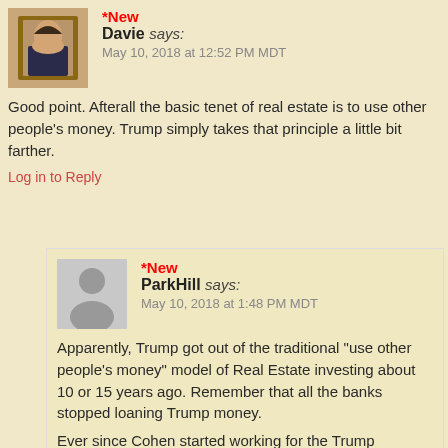*New
Davie says:
May 10, 2018 at 12:52 PM MDT
Good point.  Afterall the basic tenet of real estate is to use other people's money. Trump simply takes that principle a little bit farther.
Log in to Reply
*New
ParkHill says:
May 10, 2018 at 1:48 PM MDT
Apparently, Trump got out of the traditional "use other people's money" model of Real Estate investing about 10 or 15 years ago. Remember that all the banks stopped loaning Trump money.

Ever since Cohen started working for the Trump organization, the deals have been cash. We'd need to see